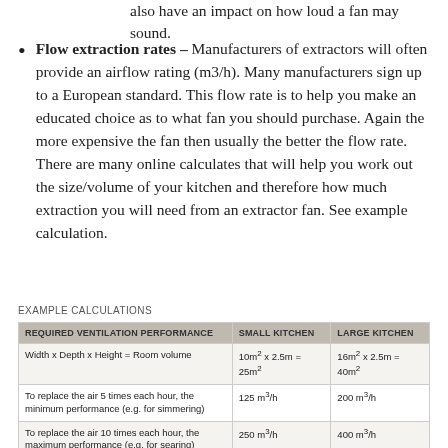also have an impact on how loud a fan may sound.
Flow extraction rates – Manufacturers of extractors will often provide an airflow rating (m3/h). Many manufacturers sign up to a European standard. This flow rate is to help you make an educated choice as to what fan you should purchase. Again the more expensive the fan then usually the better the flow rate. There are many online calculates that will help you work out the size/volume of your kitchen and therefore how much extraction you will need from an extractor fan. See example calculation.
EXAMPLE CALCULATIONS
| REQUIRED VENTILATION PERFORMANCE | SMALL KITCHEN | LARGE KITCHEN |
| --- | --- | --- |
| Width x Depth x Height = Room volume | 10m² x 2.5m = 25m² | 16m² x 2.5m = 40m² |
| To replace the air 5 times each hour, the minimum performance (e.g. for simmering) | 125 m³/h | 200 m³/h |
| To replace the air 10 times each hour, the maximum performance (e.g. for searing) | 250 m³/h | 400 m³/h |